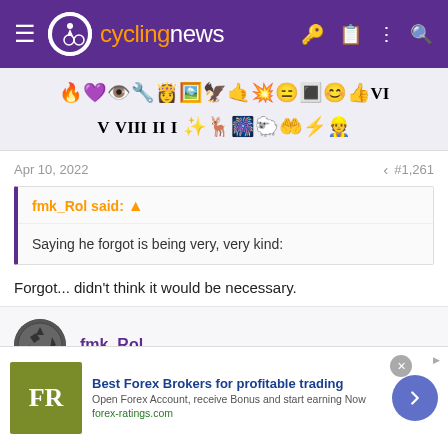cyclingnews
[Figure (other): Row of emoji/badge icons used as a reaction toolbar]
Apr 10, 2022   #1,261
fmk_Rol said: ↑
Saying he forgot is being very, very kind:
Forgot... didn't think it would be necessary.
fmk_Rol
[Figure (other): Advertisement banner: Best Forex Brokers for profitable trading — forex-ratings.com]